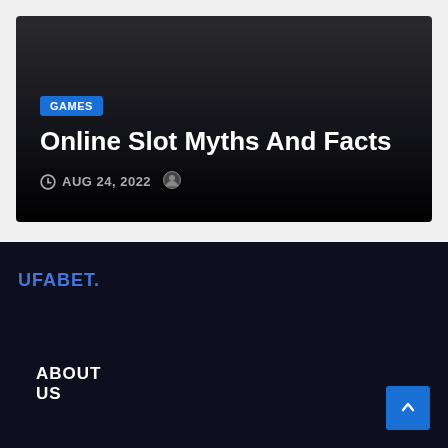[Figure (screenshot): Article card with dark background showing a blog post thumbnail]
Online Slot Myths And Facts
GAMES
AUG 24, 2022
UFABET.
ABOUT US